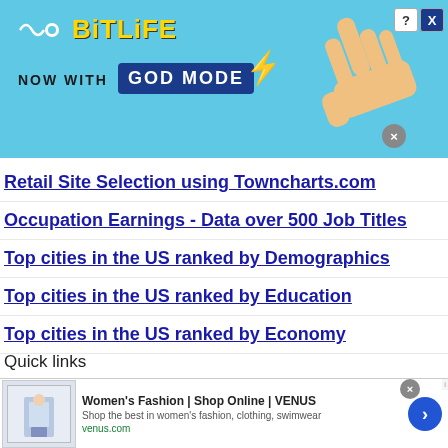[Figure (screenshot): BitLife advertisement banner with cyan background showing 'NOW WITH GOD MODE' text and a pointing hand graphic]
Retail Site Selection using Towncharts.com
Occupation Earnings - Data over 500 Job Titles
Top cities in the US ranked by Demographics
Top cities in the US ranked by Education
Top cities in the US ranked by Economy
Quick links
[Figure (screenshot): Women's Fashion advertisement for VENUS showing a fashion model, title 'Women's Fashion | Shop Online | VENUS', description 'Shop the best in women's fashion, clothing, swimwear', URL venus.com, and a blue arrow button]